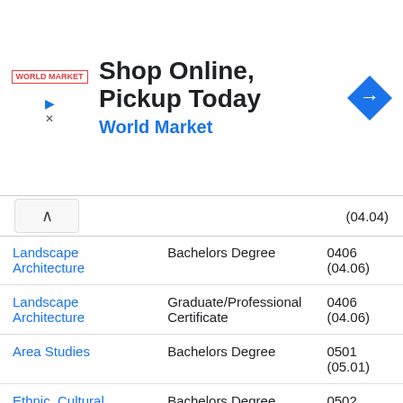[Figure (other): Advertisement banner: Shop Online, Pickup Today - World Market with logo and navigation arrow icon]
| Program Name | Degree | Code |
| --- | --- | --- |
| (04.04) |
| Landscape Architecture | Bachelors Degree | 0406
(04.06) |
| Landscape Architecture | Graduate/Professional Certificate | 0406
(04.06) |
| Area Studies | Bachelors Degree | 0501
(05.01) |
| Ethnic, Cultural Minority, Gender, and Group Studies | Bachelors Degree | 0502
(05.02) |
| Ethnic, Cultural Minority, | Master's Degree | 0502 |